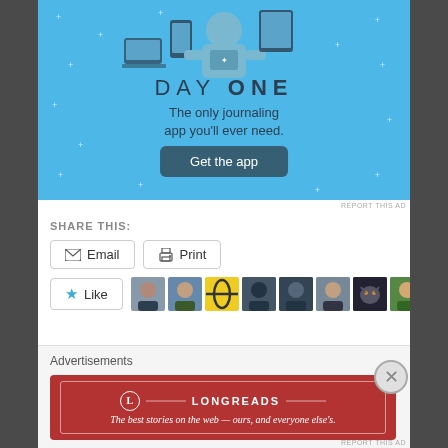[Figure (illustration): Day One app advertisement banner with light blue background, showing a figure holding a phone/tablet, devices, with text 'DAY ONE', 'The only journaling app you'll ever need.' and a 'Get the app' button]
REPORT THIS AD
SHARE THIS:
Email   Print
Like   [blogger avatars]   15 bloggers like this.
Advertisements
[Figure (illustration): Longreads advertisement banner: dark red/maroon background with white border, Longreads logo, tagline 'The best stories on the web — ours, and everyone else's.']
REPORT THIS AD